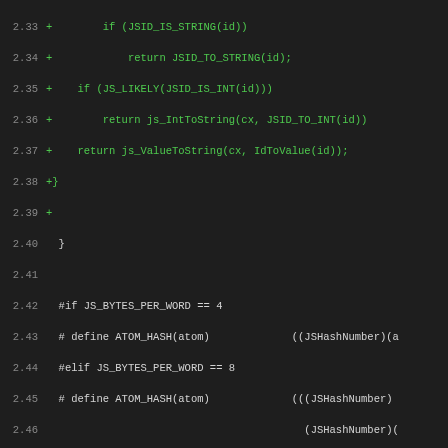[Figure (screenshot): Code diff viewer showing source code changes in a dark-themed monospace editor. Line numbers are shown in gray on the left. Added lines are green, removed lines are red, diff headers are magenta, and neutral code is white/gray.]